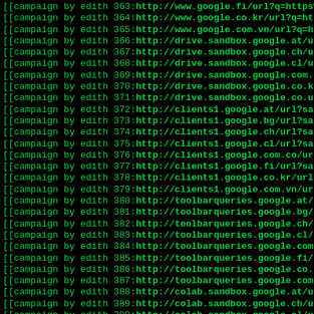[[campaign by edith 363:http://www.google.fi/url?q=https%3A
[[campaign by edith 364:http://www.google.co.kr/url?q=https
[[campaign by edith 365:http://www.google.com.vn/url?q=http
[[campaign by edith 366:http://drive.sandbox.google.at/url?
[[campaign by edith 367:http://drive.sandbox.google.ch/url?
[[campaign by edith 368:http://drive.sandbox.google.cl/url?
[[campaign by edith 369:http://drive.sandbox.google.com.co/
[[campaign by edith 370:http://drive.sandbox.google.co.kr/u
[[campaign by edith 371:http://drive.sandbox.google.co.uz/u
[[campaign by edith 372:http://clients1.google.at/url?sa=t&
[[campaign by edith 373:http://clients1.google.bg/url?sa=t&
[[campaign by edith 374:http://clients1.google.ch/url?sa=t&
[[campaign by edith 375:http://clients1.google.cl/url?sa=t&
[[campaign by edith 376:http://clients1.google.com.co/url?s
[[campaign by edith 377:http://clients1.google.fi/url?sa=t&
[[campaign by edith 378:http://clients1.google.co.kr/url?sa
[[campaign by edith 379:http://clients1.google.com.vn/url?s
[[campaign by edith 380:http://toolbarqueries.google.at/url
[[campaign by edith 381:http://toolbarqueries.google.bg/url
[[campaign by edith 382:http://toolbarqueries.google.ch/url
[[campaign by edith 383:http://toolbarqueries.google.cl/url
[[campaign by edith 384:http://toolbarqueries.google.com.co
[[campaign by edith 385:http://toolbarqueries.google.fi/url
[[campaign by edith 386:http://toolbarqueries.google.co.kr/
[[campaign by edith 387:http://toolbarqueries.google.com.vn
[[campaign by edith 388:http://colab.sandbox.google.at/url?
[[campaign by edith 389:http://colab.sandbox.google.ch/url?
[[campaign by edith 390:http://colab.sandbox.google.cl/url?
[[campaign by edith 391:http://colab.sandbox.google.com.co/
[[campaign by edith 392:http://colab.sandbox.google.